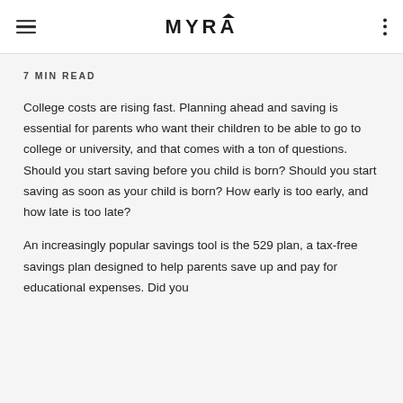MYRA
7 MIN READ
College costs are rising fast. Planning ahead and saving is essential for parents who want their children to be able to go to college or university, and that comes with a ton of questions. Should you start saving before you child is born? Should you start saving as soon as your child is born? How early is too early, and how late is too late?
An increasingly popular savings tool is the 529 plan, a tax-free savings plan designed to help parents save up and pay for educational expenses. Did you